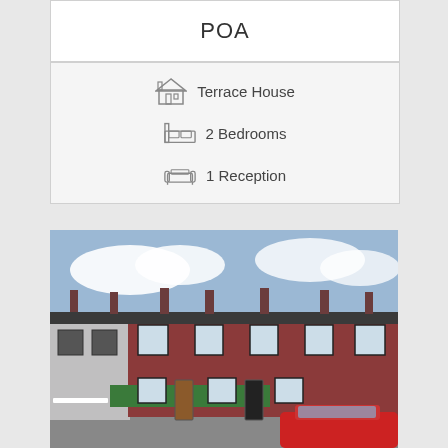POA
Terrace House
2 Bedrooms
1 Reception
[Figure (photo): Street view photo of a row of red brick terrace houses with chimneys, hedges in front, a brown front door, and a red car partially visible in the foreground]